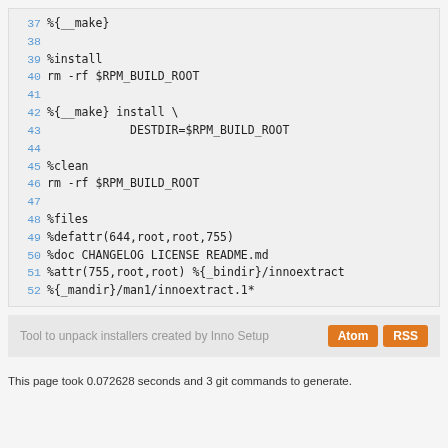37 %{__make}
38
39 %install
40 rm -rf $RPM_BUILD_ROOT
41
42 %{__make} install \
43             DESTDIR=$RPM_BUILD_ROOT
44
45 %clean
46 rm -rf $RPM_BUILD_ROOT
47
48 %files
49 %defattr(644,root,root,755)
50 %doc CHANGELOG LICENSE README.md
51 %attr(755,root,root) %{_bindir}/innoextract
52 %{_mandir}/man1/innoextract.1*
Tool to unpack installers created by Inno Setup
Atom
RSS
This page took 0.072628 seconds and 3 git commands to generate.